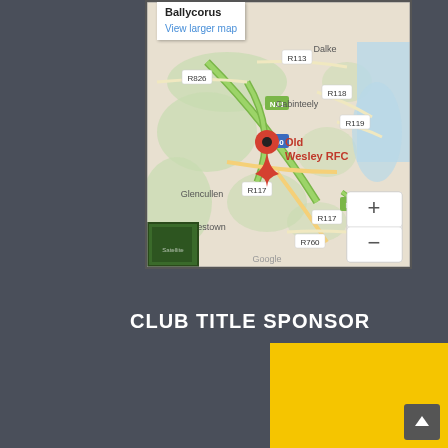[Figure (map): Google Maps showing Old Wesley RFC location near Ballycorus, Cabinteely area, Dublin, Ireland. Shows roads R826, R113, N11, R118, R119, M50, R117, R760. Places labeled include Dalkey, Cabinteely, Glencullen, Curtlestown, Kilmaca. Red pin marker labeled Old Wesley RFC. Zoom controls visible. Satellite thumbnail in lower left. Google logo at bottom.]
CLUB TITLE SPONSOR
[Figure (photo): Yellow/gold colored rectangle - sponsor logo or advertisement image]